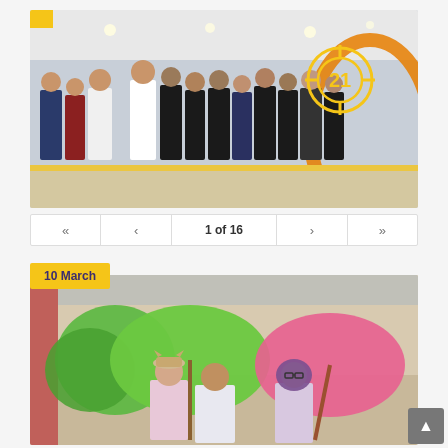[Figure (photo): Group of students gathered in a mall or indoor venue; a target/crosshair graphic with number 21 is overlaid in yellow on the upper right area of the photo.]
1 of 16
« ‹ 1 of 16 › »
10 March
[Figure (photo): Three students posing outdoors holding colorful paper parasols — one green and one pink. They are wearing traditional/cultural outfits.]